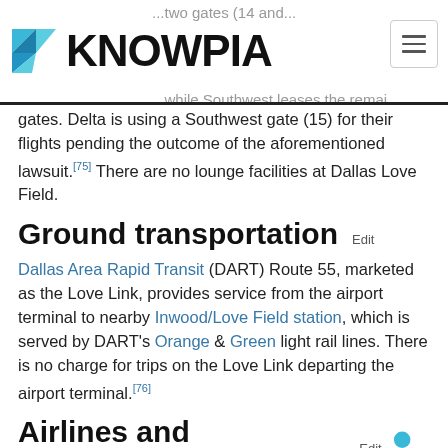KNOWPIA
gates. Delta is using a Southwest gate (15) for their flights pending the outcome of the aforementioned lawsuit.[75] There are no lounge facilities at Dallas Love Field.
Ground transportation
Dallas Area Rapid Transit (DART) Route 55, marketed as the Love Link, provides service from the airport terminal to nearby Inwood/Love Field station, which is served by DART's Orange & Green light rail lines. There is no charge for trips on the Love Link departing the airport terminal.[76]
Airlines and destinations
Passenger